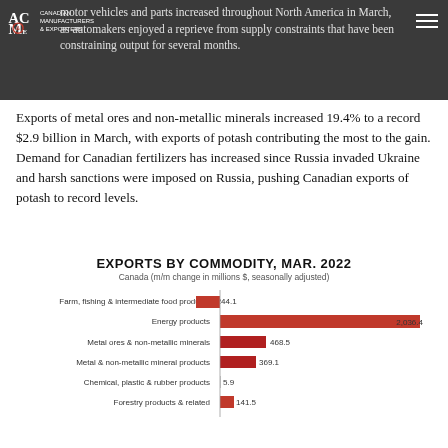motor vehicles and parts increased throughout North America in March, as automakers enjoyed a reprieve from supply constraints that have been constraining output for several months.
Exports of metal ores and non-metallic minerals increased 19.4% to a record $2.9 billion in March, with exports of potash contributing the most to the gain. Demand for Canadian fertilizers has increased since Russia invaded Ukraine and harsh sanctions were imposed on Russia, pushing Canadian exports of potash to record levels.
[Figure (bar-chart): EXPORTS BY COMMODITY, MAR. 2022]